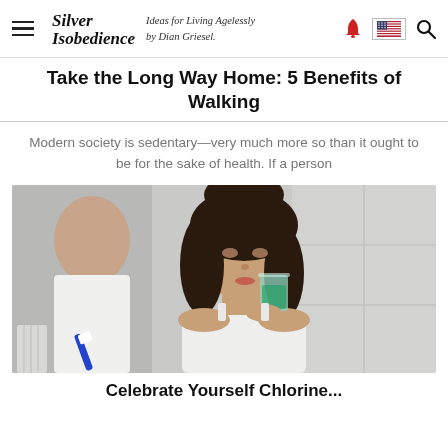Silver Isobedience — Ideas for Living Agelessly by Dian Griesel.
Take the Long Way Home: 5 Benefits of Walking
Modern society is sedentary—very much more so than it ought to be for the sake of health. If a person
[Figure (photo): A middle-aged woman with dark hair in a bathroom, holding a glass of green mouthwash up to her mouth and holding a toothbrush in her other hand, reflected partially in a mirror.]
Celebrate Yourself Chlorine...